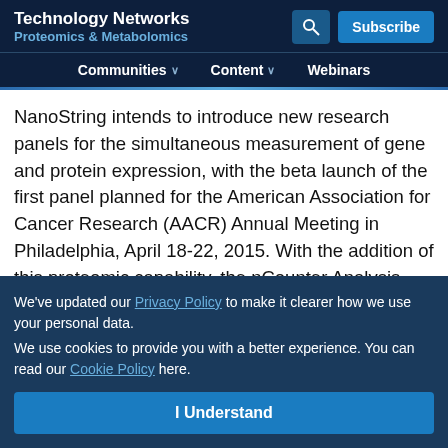Technology Networks
Proteomics & Metabolomics
Communities   Content   Webinars
NanoString intends to introduce new research panels for the simultaneous measurement of gene and protein expression, with the beta launch of the first panel planned for the American Association for Cancer Research (AACR) Annual Meeting in Philadelphia, April 18-22, 2015. With the addition of this proteomic capability, the nCounter Analysis System will hold a unique distinction of having capabilities for concurrent genomic and proteomic analysis.
NanoString's nCounter Analysis System is an automated and easy-to-use platform that employs a novel digital barcoding chemistry to deliver high precision multiplexed
We've updated our Privacy Policy to make it clearer how we use your personal data.
We use cookies to provide you with a better experience. You can read our Cookie Policy here.
I Understand